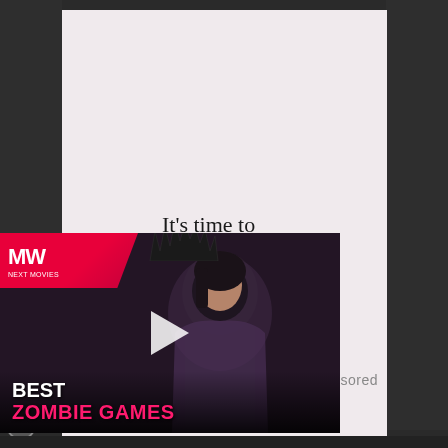[Figure (screenshot): Advertisement with light pink/cream background showing text 'It's time to save online conversation.' with a dark 'Learn more' button below]
It's time to save online conversation.
Learn more
Sponsored
[Figure (screenshot): Video advertisement overlay showing 'BEST ZOMBIE GAMES' text with game character thumbnail and play button. MW (Next Movies) logo in top left corner with pink/red branding.]
BEST
ZOMBIE GAMES